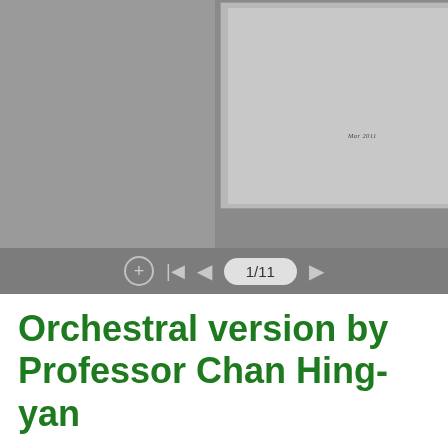[Figure (screenshot): A document viewer interface showing a PDF/document page viewer with two partially visible grey document pages side by side. The right page has small italic text reading 'Mar 2011'. A toolbar at the bottom shows navigation controls including a zoom button (+), skip-to-start (|<), back arrow (<), a page indicator pill showing '1/11', and a forward arrow (>).]
Orchestral version by Professor Chan Hing-yan